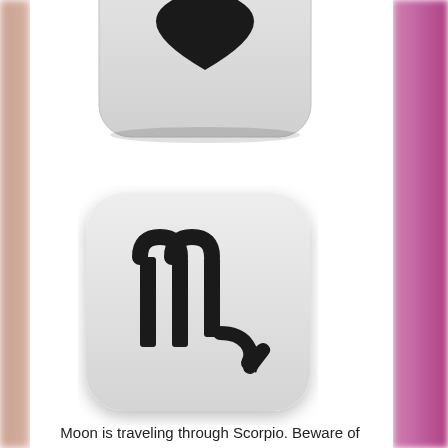[Figure (illustration): Partially visible rounded square icon with a black zodiac symbol (top portion cut off) on a light gray background, at the top of the page]
[Figure (illustration): Rounded square icon with the Scorpio zodiac symbol (♏) in black on a light gray gradient background, centered in the middle of the page]
Moon is traveling through Scorpio. Beware of